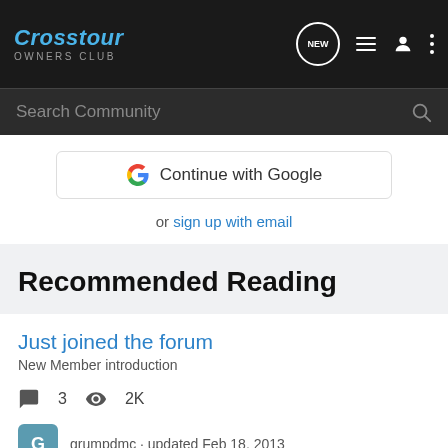Crosstour OWNERS CLUB
Search Community
Continue with Google
or sign up with email
Recommended Reading
Just joined the forum
New Member introduction
3  2K
grumpdmc · updated Feb 18, 2013